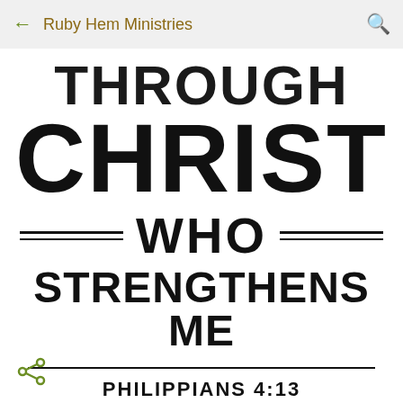Ruby Hem Ministries
[Figure (illustration): Bible verse typographic poster showing 'THROUGH CHRIST WHO STRENGTHENS ME — PHILIPPIANS 4:13' in bold black text on white background, with decorative double lines flanking 'WHO']
THROUGH
CHRIST
WHO
STRENGTHENS ME
PHILIPPIANS 4:13